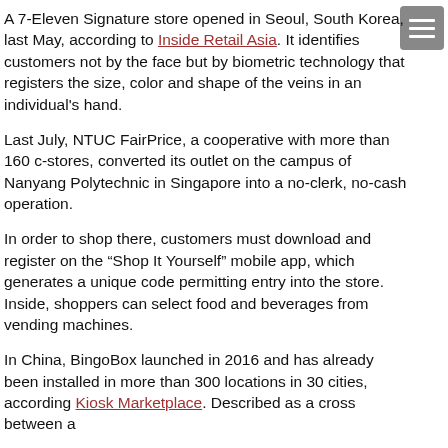A 7-Eleven Signature store opened in Seoul, South Korea, last May, according to Inside Retail Asia. It identifies customers not by the face but by biometric technology that registers the size, color and shape of the veins in an individual's hand.
Last July, NTUC FairPrice, a cooperative with more than 160 c-stores, converted its outlet on the campus of Nanyang Polytechnic in Singapore into a no-clerk, no-cash operation.
In order to shop there, customers must download and register on the “Shop It Yourself” mobile app, which generates a unique code permitting entry into the store. Inside, shoppers can select food and beverages from vending machines.
In China, BingoBox launched in 2016 and has already been installed in more than 300 locations in 30 cities, according Kiosk Marketplace. Described as a cross between a